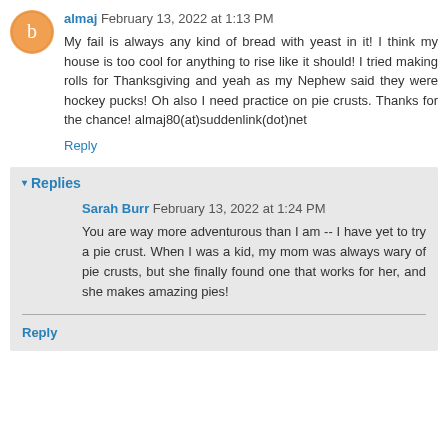almaj February 13, 2022 at 1:13 PM
My fail is always any kind of bread with yeast in it! I think my house is too cool for anything to rise like it should! I tried making rolls for Thanksgiving and yeah as my Nephew said they were hockey pucks! Oh also I need practice on pie crusts. Thanks for the chance! almaj80(at)suddenlink(dot)net
Reply
Replies
Sarah Burr February 13, 2022 at 1:24 PM
You are way more adventurous than I am -- I have yet to try a pie crust. When I was a kid, my mom was always wary of pie crusts, but she finally found one that works for her, and she makes amazing pies!
Reply